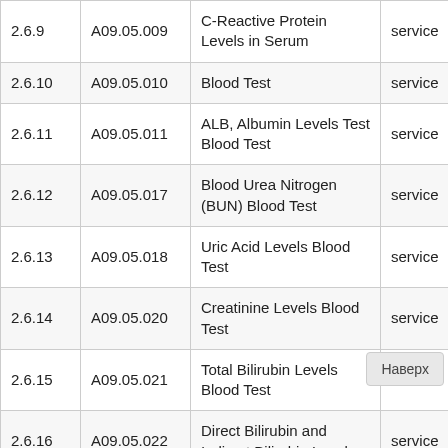| # | Code | Description | Type |
| --- | --- | --- | --- |
| 2.6.9 | A09.05.009 | C-Reactive Protein Levels in Serum | service |
| 2.6.10 | A09.05.010 | Blood Test | service |
| 2.6.11 | A09.05.011 | ALB, Albumin Levels Test Blood Test | service |
| 2.6.12 | A09.05.017 | Blood Urea Nitrogen (BUN) Blood Test | service |
| 2.6.13 | A09.05.018 | Uric Acid Levels Blood Test | service |
| 2.6.14 | A09.05.020 | Creatinine Levels Blood Test | service |
| 2.6.15 | A09.05.021 | Total Bilirubin Levels Blood Test | service |
| 2.6.16 | A09.05.022 | Direct Bilirubin and Indirect Bilirubin Levels | service |